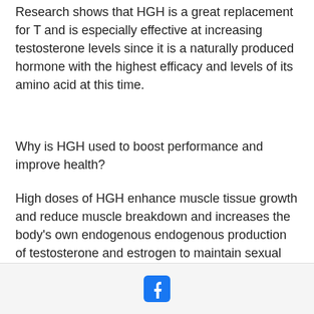Research shows that HGH is a great replacement for T and is especially effective at increasing testosterone levels since it is a naturally produced hormone with the highest efficacy and levels of its amino acid at this time.
Why is HGH used to boost performance and improve health?
High doses of HGH enhance muscle tissue growth and reduce muscle breakdown and increases the body's own endogenous endogenous production of testosterone and estrogen to maintain sexual performance. As a result, HGH does not create any of the side effects associated with prescription testosterone. In contrast, the high concentrations of T seen on the market at
[Figure (logo): Facebook logo icon in blue]